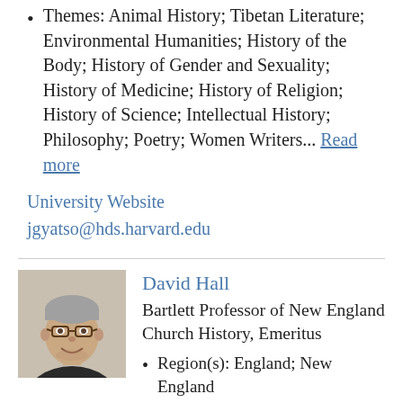Themes: Animal History; Tibetan Literature; Environmental Humanities; History of the Body; History of Gender and Sexuality; History of Medicine; History of Religion; History of Science; Intellectual History; Philosophy; Poetry; Women Writers... Read more
University Website
jgyatso@hds.harvard.edu
[Figure (photo): Headshot of David Hall, an older man with glasses and grey hair, smiling, wearing a dark jacket]
David Hall
Bartlett Professor of New England Church History, Emeritus
Region(s): England; New England
Time Period(s): 17th century; 18th century